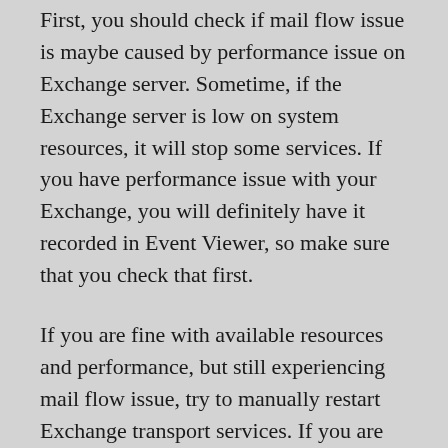First, you should check if mail flow issue is maybe caused by performance issue on Exchange server. Sometime, if the Exchange server is low on system resources, it will stop some services. If you have performance issue with your Exchange, you will definitely have it recorded in Event Viewer, so make sure that you check that first.
If you are fine with available resources and performance, but still experiencing mail flow issue, try to manually restart Exchange transport services. If you are running both CAS and MBX roles on the same machine, you have to restart these three services : Microsoft Exchange Frontend Transport, Microsoft Exchange Transport Policy and Micros...